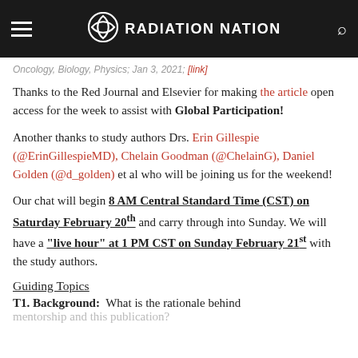RADIATION NATION
Oncology, Biology, Physics; Jan 3, 2021; [link]
Thanks to the Red Journal and Elsevier for making the article open access for the week to assist with Global Participation!
Another thanks to study authors Drs. Erin Gillespie (@ErinGillespieMD), Chelain Goodman (@ChelainG), Daniel Golden (@d_golden) et al who will be joining us for the weekend!
Our chat will begin 8 AM Central Standard Time (CST) on Saturday February 20th and carry through into Sunday. We will have a "live hour" at 1 PM CST on Sunday February 21st with the study authors.
Guiding Topics
T1. Background:  What is the rationale behind mentorship and this publication?